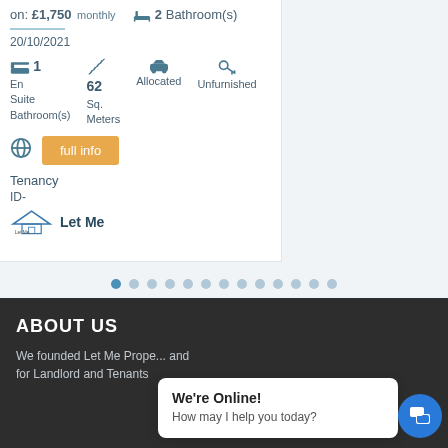on: £1,750 monthly  2 Bathroom(s)
20/10/2021
1 En Suite Bathroom(s)  62 Sq. Meters  Allocated  Unfurnished
full info
Tenancy
ID-
Let Me
[Figure (other): Carousel navigation dots, 13 dots with first one active]
ABOUT US
We founded Let Me Prope... and for Landlord and Tenants
We're Online!
How may I help you today?